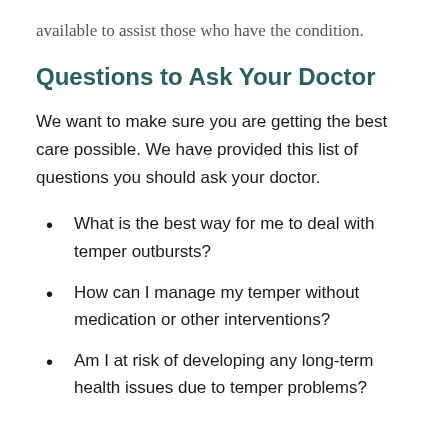available to assist those who have the condition.
Questions to Ask Your Doctor
We want to make sure you are getting the best care possible. We have provided this list of questions you should ask your doctor.
What is the best way for me to deal with temper outbursts?
How can I manage my temper without medication or other interventions?
Am I at risk of developing any long-term health issues due to temper problems?